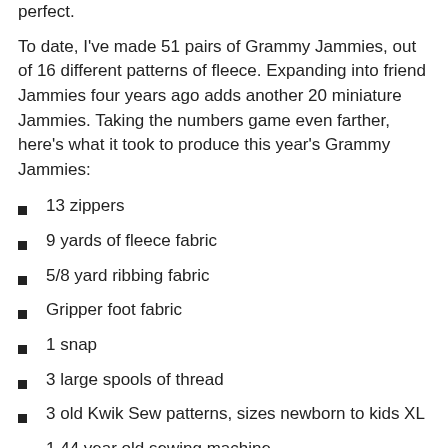perfect.
To date, I've made 51 pairs of Grammy Jammies, out of 16 different patterns of fleece. Expanding into friend Jammies four years ago adds another 20 miniature Jammies. Taking the numbers game even farther, here's what it took to produce this year's Grammy Jammies:
13 zippers
9 yards of fleece fabric
5/8 yard ribbing fabric
Gripper foot fabric
1 snap
3 large spools of thread
3 old Kwik Sew patterns, sizes newborn to kids XL
1 44 year old sewing machine
By now the kids all know what comes in fabric bags, and